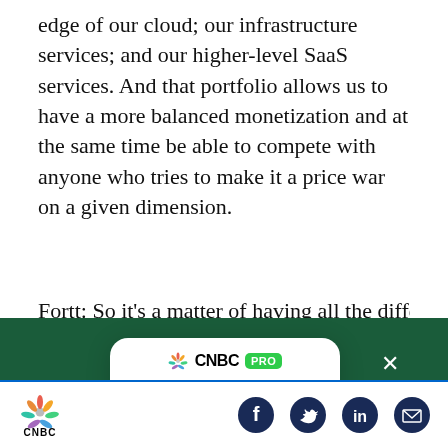edge of our cloud; our infrastructure services; and our higher-level SaaS services. And that portfolio allows us to have a more balanced monetization and at the same time be able to compete with anyone who tries to make it a price war on a given dimension.
Fortt: So it's a matter of having all the different
[Figure (screenshot): CNBC PRO subscription modal overlay on a dark green background. Shows CNBC PRO logo, headline 'U.S. companies are reshoring at a rapid pace. Here's how to play the trend', and a green 'SUBSCRIBE NOW' button. A white X close button appears in the top right.]
[Figure (logo): CNBC footer bar with CNBC peacock logo on left and social media icons (Facebook, Twitter, LinkedIn, Email) on right.]